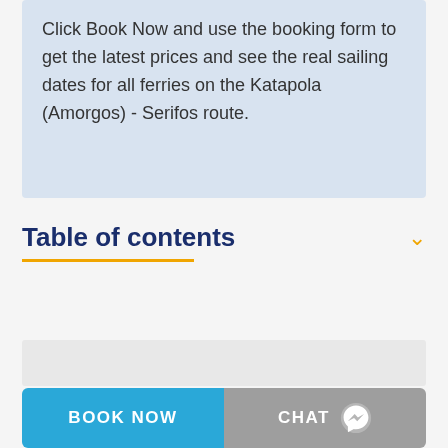Click Book Now and use the booking form to get the latest prices and see the real sailing dates for all ferries on the Katapola (Amorgos) - Serifos route.
Table of contents
[Figure (other): Book Now and Chat buttons at the bottom of the page]